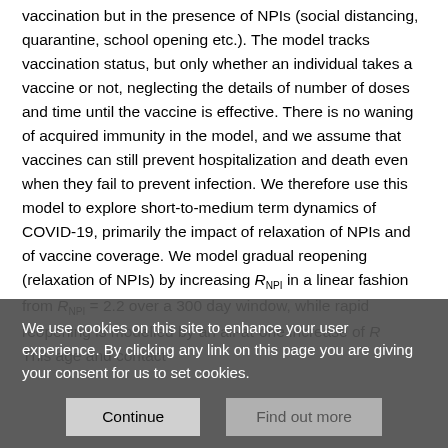vaccination but in the presence of NPIs (social distancing, quarantine, school opening etc.). The model tracks vaccination status, but only whether an individual takes a vaccine or not, neglecting the details of number of doses and time until the vaccine is effective. There is no waning of acquired immunity in the model, and we assume that vaccines can still prevent hospitalization and death even when they fail to prevent infection. We therefore use this model to explore short-to-medium term dynamics of COVID-19, primarily the impact of relaxation of NPIs and of vaccine coverage. We model gradual reopening (relaxation of NPIs) by increasing R_NPI in a linear fashion from R_NPI = 2.2 over a 300 day window, while rapid reopening is modelled by an all-at-one increase of R... This age and contact
We use cookies on this site to enhance your user experience. By clicking any link on this page you are giving your consent for us to set cookies.